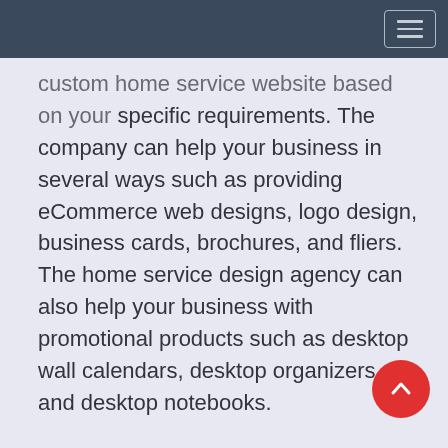custom home service website based on your specific requirements. The company can help your business in several ways such as providing eCommerce web designs, logo design, business cards, brochures, and fliers. The home service design agency can also help your business with promotional products such as desktop wall calendars, desktop organizers, and desktop notebooks.
The online market is becoming very competitive these days. People are opting for the cheapest web design services which do not guarantee quality work. If your brand is strong and reliable enough, then it should be backed by a professional web design company. It will ensure